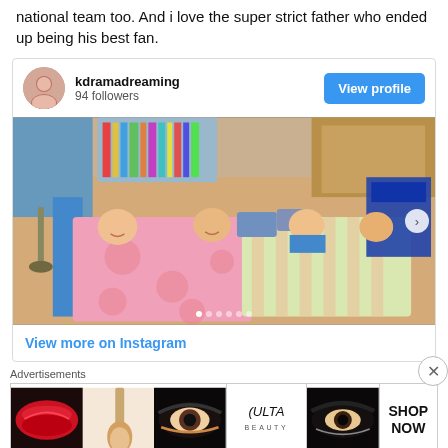national team too. And i love the super strict father who ended up being his best fan.
[Figure (screenshot): Instagram embed card for user 'kdramadreaming' with 94 followers. Shows a photo of four people lying on floor mattresses under pink and striped blankets viewed from above. Has a 'View profile' button and 'View more on Instagram' link.]
[Figure (photo): Advertisement banner for ULTA beauty featuring close-up makeup photos (lips with lipstick, makeup brush, eye with eyeshadow, ULTA logo, eye with dramatic makeup) and a 'SHOP NOW' call to action.]